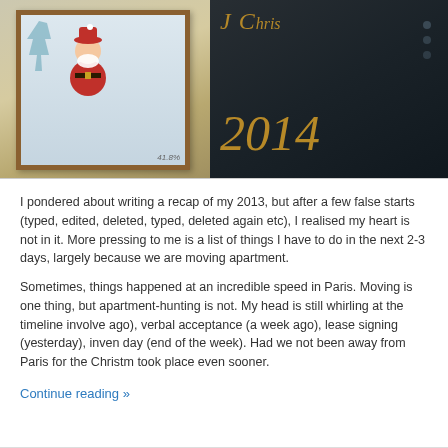[Figure (photo): A Christmas-themed photo showing a framed picture of a Santa Claus figure on the left (with wooden frame and decorative trees), and a dark chalkboard-style surface on the right with gold cursive script and the year 2014.]
I pondered about writing a recap of my 2013, but after a few false starts (typed, edited, deleted, typed, deleted again etc), I realised my heart is not in it. More pressing to me is a list of things I have to do in the next 2-3 days, largely because we are moving apartment.
Sometimes, things happened at an incredible speed in Paris. Moving is one thing, but apartment-hunting is not. My head is still whirling at the timeline involved: viewing (2 weeks ago), verbal acceptance (a week ago), lease signing (yesterday), inventory day (end of the week). Had we not been away from Paris for the Christmas holidays, it would have took place even sooner.
Continue reading »